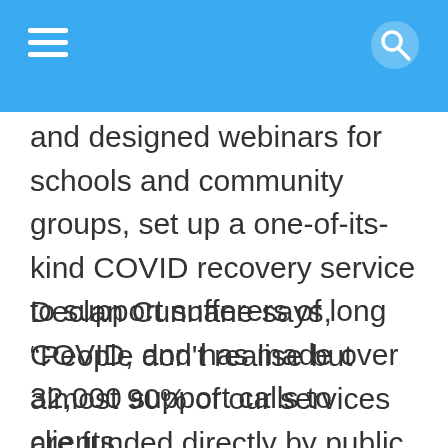and designed webinars for schools and community groups, set up a one-of-its-kind COVID recovery service to support sufferers of long COVID, and has made over 32,000 support calls to clients.
Declan Cunnane says, “People don't realise but almost 90% of our services are funded directly by public donations. So, to be frank, we couldn't have done any of this without the ongoing generosity of the Connemara community. On behalf of...